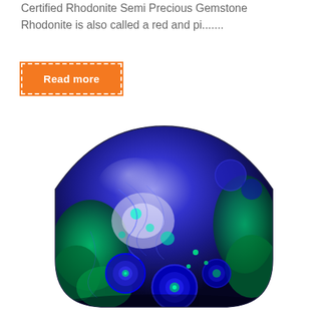Certified Rhodonite Semi Precious Gemstone Rhodonite is also called a red and pi.......
Read more
[Figure (photo): A triangular cabochon gemstone with vibrant blue azurite and green malachite patterns, polished and reflective, photographed on a white background.]